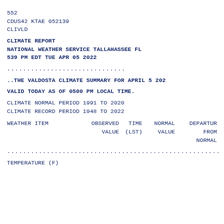552
CDUS42 KTAE 052139
CLIVLD
CLIMATE REPORT
NATIONAL WEATHER SERVICE TALLAHASSEE FL
539 PM EDT TUE APR 05 2022
..............................
..THE VALDOSTA CLIMATE SUMMARY FOR APRIL 5 2022
VALID TODAY AS OF 0500 PM LOCAL TIME.
CLIMATE NORMAL PERIOD 1991 TO 2020
CLIMATE RECORD PERIOD 1948 TO 2022
| WEATHER ITEM | OBSERVED VALUE | TIME (LST) | NORMAL VALUE | DEPARTURE FROM NORMAL |
| --- | --- | --- | --- | --- |
......................................................
TEMPERATURE (F)